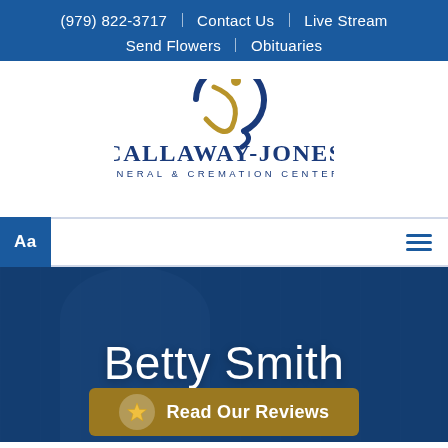(979) 822-3717 | Contact Us | Live Stream | Send Flowers | Obituaries
[Figure (logo): Callaway-Jones Funeral & Cremation Centers logo with stylized circular swoosh and figure icon above the name]
Aa (font resize button) and hamburger menu icon
Betty Smith
Read Our Reviews